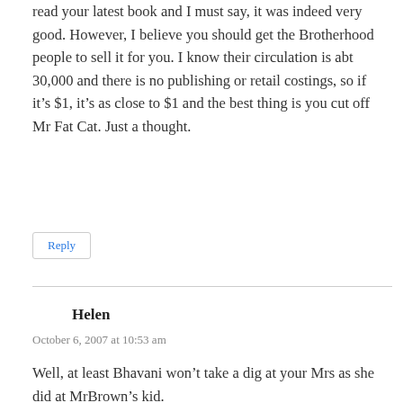read your latest book and I must say, it was indeed very good. However, I believe you should get the Brotherhood people to sell it for you. I know their circulation is abt 30,000 and there is no publishing or retail costings, so if it's $1, it's as close to $1 and the best thing is you cut off Mr Fat Cat. Just a thought.
Reply
Helen
October 6, 2007 at 10:53 am
Well, at least Bhavani won't take a dig at your Mrs as she did at MrBrown's kid.